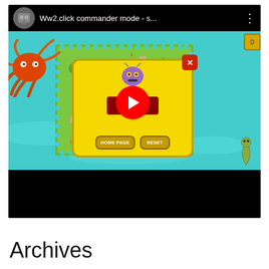[Figure (screenshot): YouTube video thumbnail showing a game screenshot titled 'Ww2.click commander mode - s...' with a YouTube play button overlay, game map with island, octopus illustration, yellow popup dialog with HOME PAGE and RESET buttons, and black bottom bar.]
Archives